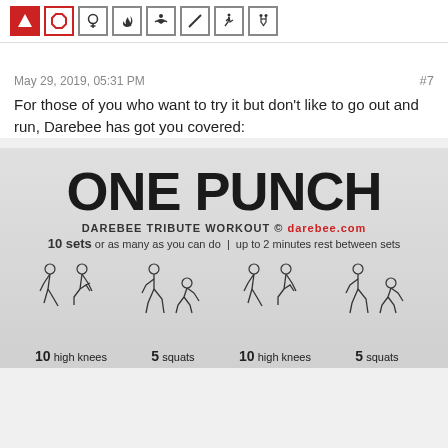[Figure (infographic): Row of martial arts and fitness icons in boxes at the top of the page]
May 29, 2019, 05:31 PM
#7
For those of you who want to try it but don't like to go out and run, Darebee has got you covered:
[Figure (infographic): One Punch Darebee Tribute Workout infographic showing: 10 sets or as many as you can do, up to 2 minutes rest between sets. Exercises shown: 10 high knees, 5 squats, 10 high knees, 5 squats. Bottom row partially visible with more exercises.]